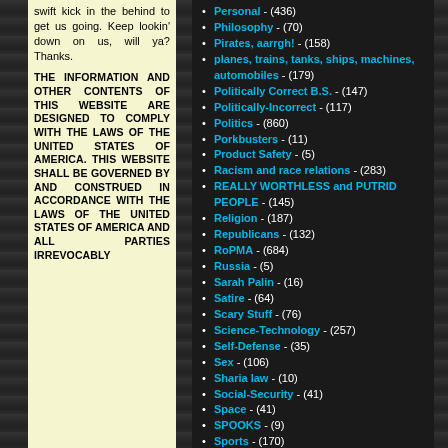swift kick in the behind to get us going. Keep lookin' down on us, will ya? Thanks.
THE INFORMATION AND OTHER CONTENTS OF THIS WEBSITE ARE DESIGNED TO COMPLY WITH THE LAWS OF THE UNITED STATES OF AMERICA. THIS WEBSITE SHALL BE GOVERNED BY AND CONSTRUED IN ACCORDANCE WITH THE LAWS OF THE UNITED STATES OF AMERICA AND ALL PARTIES IRREVOCABLY...
Personal - (436)
Philosophy - (70)
Pirates, aarrgh! - (158)
planes, trains, tanks, ships, machines, automobiles - (179)
Politically Correct B.S. - (147)
Politically-Incorrect - (117)
Politics - (860)
Porkbusters - (11)
Product Safety - (5)
Racism and race relations - (283)
REALLY WORTHLESS and PUTRID PEOPLE - (145)
Religion - (187)
Republicans - (132)
RoPMA - (684)
Russia - (5)
Sarah Palin - (16)
Satire - (64)
Scary Stuff - (76)
Science-Technology - (257)
Self-Defense - (35)
Sex - (106)
Sharia law - (10)
Social-Security - (41)
Space - (41)
SPOOKS - (9)
Sports - (170)
STFU - (0)
Stoopid-People - (1015)
Success Stories - (7)
Super Seniors - (0)
Talented Ppl. - (22)
Taxes - (66)
Television - (55)
Terrorists - (715)
The New Conservatives - (45)
Travelers/Gypsies/Squatters - (130)
TURD WORLD - (27)
Typical White People: Stupid, Evil, Willfully Blind - (36)